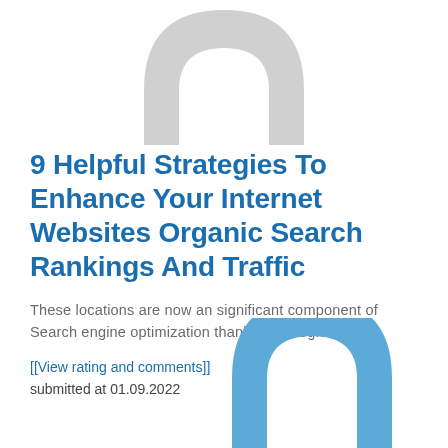[Figure (logo): Gray arch/horseshoe logo mark at the top center of the page]
9 Helpful Strategies To Enhance Your Internet Websites Organic Search Rankings And Traffic
These locations are now an significant component of Search engine optimization thanks to Google's al..
[[View rating and comments]]
submitted at 01.09.2022
[Figure (logo): Blue arch/horseshoe logo mark at the bottom center of the page, partially cropped]